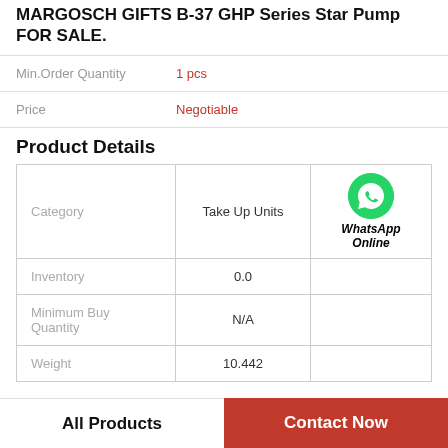MARGOSCH GIFTS B-37 GHP Series Star Pump FOR SALE.
Min.Order Quantity: 1 pcs
Price: Negotiable
Product Details
| Category | Take Up Units |  |
| --- | --- | --- |
| Inventory | 0.0 |  |
| Minimum Buy Quantity | N/A |  |
| Weight | 10.442 |  |
All Products | Contact Now